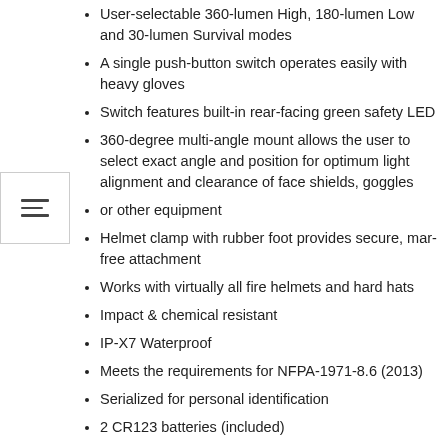User-selectable 360-lumen High, 180-lumen Low and 30-lumen Survival modes
A single push-button switch operates easily with heavy gloves
Switch features built-in rear-facing green safety LED
360-degree multi-angle mount allows the user to select exact angle and position for optimum light alignment and clearance of face shields, goggles
or other equipment
Helmet clamp with rubber foot provides secure, mar-free attachment
Works with virtually all fire helmets and hard hats
Impact & chemical resistant
IP-X7 Waterproof
Meets the requirements for NFPA-1971-8.6 (2013)
Serialized for personal identification
2 CR123 batteries (included)
Limited Lifetime Warranty
Download Spec PDF